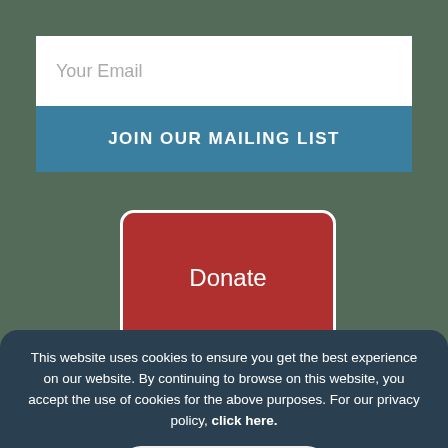Your Email
JOIN OUR MAILING LIST
Donate
Our sincere gratitude to the following
This website uses cookies to ensure you get the best experience on our website. By continuing to browse on this website, you accept the use of cookies for the above purposes. For our privacy policy, click here.
I UNDERSTAND